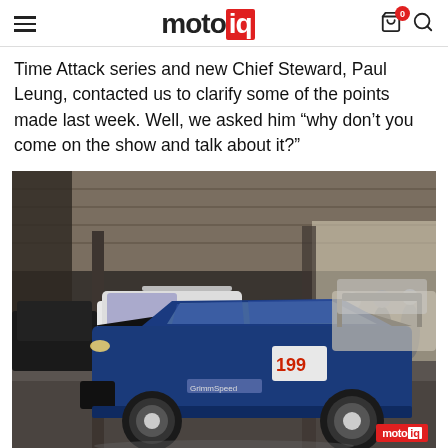motoiq
Time Attack series and new Chief Steward, Paul Leung, contacted us to clarify some of the points made last week. Well, we asked him “why don’t you come on the show and talk about it?”
[Figure (photo): A blue Subaru WRX STI race car with number 199 and Grimmspeed branding parked in a covered paddock area. Several people are standing in the background near a white Subaru race car. The paddock has a corrugated metal roof.]